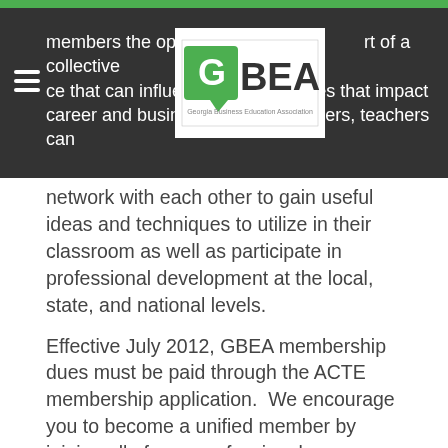members the opportunity … part of a collective … ce that can influence … es that impact career and business education. As members, teachers can
[Figure (logo): GBEA (Georgia Business Education Association) logo with green Georgia state shape and bold text 'GBEA']
network with each other to gain useful ideas and techniques to utilize in their classroom as well as participate in professional development at the local, state, and national levels.
Effective July 2012, GBEA membership dues must be paid through the ACTE membership application.  We encourage you to become a unified member by joining all of your professional organizations:  ACTE, NBEA, GACTE, and GBEA.
Please visit the following websites to join:
ACTE Membership Application
NBEA Membership Application